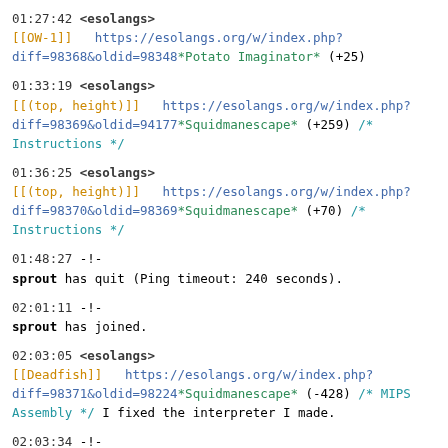01:27:42 <esolangs>
[[OW-1]]  https://esolangs.org/w/index.php?diff=98368&oldid=98348*Potato Imaginator* (+25)
01:33:19 <esolangs>
[[(top, height)]]  https://esolangs.org/w/index.php?diff=98369&oldid=94177*Squidmanescape* (+259) /*
Instructions */
01:36:25 <esolangs>
[[(top, height)]]  https://esolangs.org/w/index.php?diff=98370&oldid=98369*Squidmanescape* (+70) /*
Instructions */
01:48:27 -!-
sprout has quit (Ping timeout: 240 seconds).
02:01:11 -!-
sprout has joined.
02:03:05 <esolangs>
[[Deadfish]]  https://esolangs.org/w/index.php?diff=98371&oldid=98224*Squidmanescape* (-428) /* MIPS
Assembly */ I fixed the interpreter I made.
02:03:34 -!-
littlebobobeep has quit (Ping timeout: 240 seconds).
02:04:17 <esolangs>
[[Deadfish]]  https://esolangs.org/w/index.php?diff=98372&oldid=98371*Squidmanescape* (-10) /* MIPS
Assembly */ It doesn't need a title.